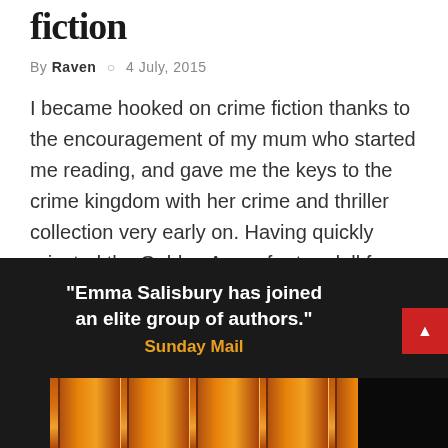fiction
By Raven ○ 4 July, 2015
I became hooked on crime fiction thanks to the encouragement of my mum who started me reading, and gave me the keys to the crime kingdom with her crime and thriller collection very early on. Having quickly rejected the Golden Age – far too dull for my…
[Figure (photo): Dark background promotional image with quote text: "Emma Salisbury has joined an elite group of authors." attributed to Sunday Mail in orange/yellow text. Red scroll-up button on right side. Bottom shows book spines in orange/amber colors.]